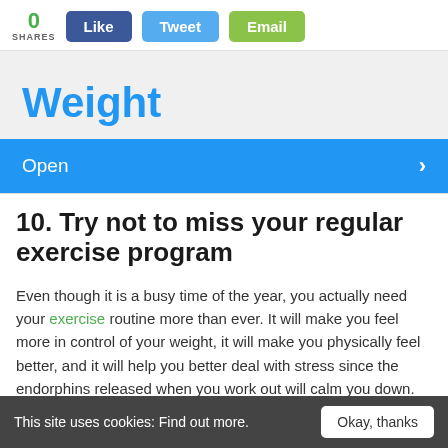[Figure (screenshot): Social share bar with 0 SHARES count, Like (blue), Tweet (light blue), and Email (green) buttons]
[Figure (screenshot): Partial banner image showing the word 'Weight' in blue large text on a light background, with an Open button in blue below]
10. Try not to miss your regular exercise program
Even though it is a busy time of the year, you actually need your exercise routine more than ever. It will make you feel more in control of your weight, it will make you physically feel better, and it will help you better deal with stress since the endorphins released when you work out will calm you down.
This site uses cookies: Find out more.  Okay, thanks